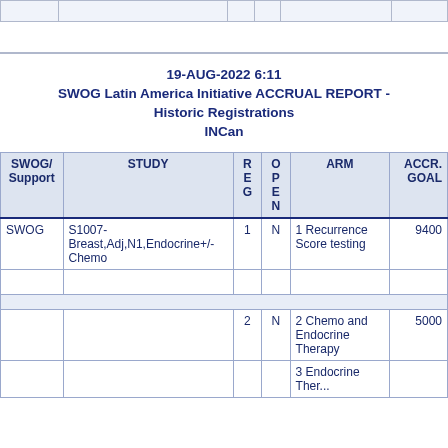19-AUG-2022 6:11
SWOG Latin America Initiative ACCRUAL REPORT - Historic Registrations
INCan
| SWOG/Support | STUDY | REG | OPEN | ARM | ACCR. GOAL |
| --- | --- | --- | --- | --- | --- |
| SWOG | S1007-Breast,Adj,N1,Endocrine+/-Chemo | 1 | N | 1 Recurrence Score testing | 9400 |
|  |  |  |  |  |  |
|  |  | 2 | N | 2 Chemo and Endocrine Therapy | 5000 |
|  |  |  |  | 3 Endocrine Therapy... |  |